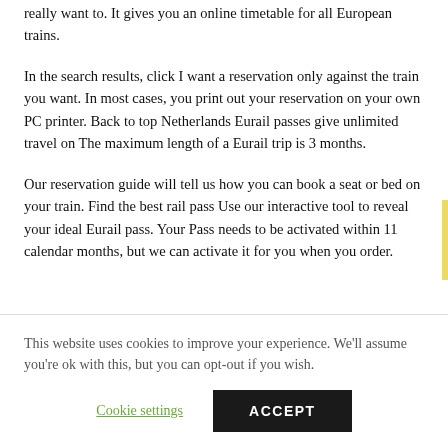really want to. It gives you an online timetable for all European trains.
In the search results, click I want a reservation only against the train you want. In most cases, you print out your reservation on your own PC printer. Back to top Netherlands Eurail passes give unlimited travel on The maximum length of a Eurail trip is 3 months.
Our reservation guide will tell us how you can book a seat or bed on your train. Find the best rail pass Use our interactive tool to reveal your ideal Eurail pass. Your Pass needs to be activated within 11 calendar months, but we can activate it for you when you order.
This website uses cookies to improve your experience. We'll assume you're ok with this, but you can opt-out if you wish.